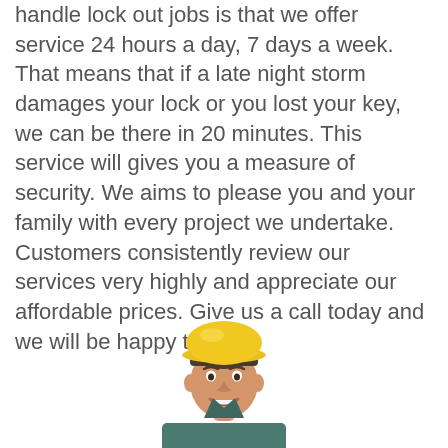handle lock out jobs is that we offer service 24 hours a day, 7 days a week. That means that if a late night storm damages your lock or you lost your key, we can be there in 20 minutes. This service will gives you a measure of security. We aims to please you and your family with every project we undertake. Customers consistently review our services very highly and appreciate our affordable prices. Give us a call today and we will be happy to help!.
[Figure (photo): A smiling man wearing a yellow hard hat and a dark teal/grey button-up shirt, photographed from the shoulders up against a white background.]